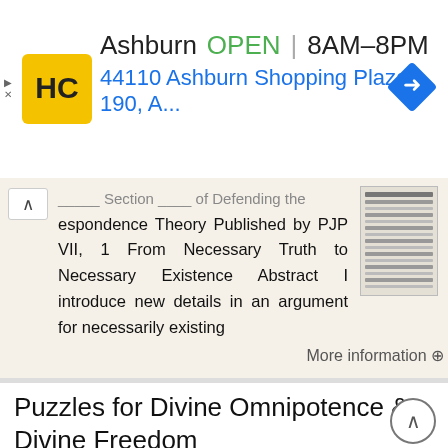[Figure (other): HC hardware store ad banner: logo, Ashburn OPEN 8AM-8PM, address 44110 Ashburn Shopping Plaza 190, A., navigation arrow icon]
espondence Theory Published by PJP VII, 1 From Necessary Truth to Necessary Existence Abstract I introduce new details in an argument for necessarily existing
More information →
Puzzles for Divine Omnipotence & Divine Freedom
Puzzles for Divine Omnipotence & Divine Freedom 1. Defining Omnipotence: A First Pass: God is said to be omnipotent. In other words, God is all-powerful. But, what does this mean? Is the following definition